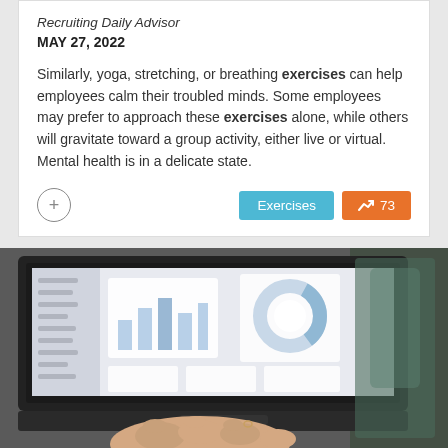Recruiting Daily Advisor
MAY 27, 2022
Similarly, yoga, stretching, or breathing exercises can help employees calm their troubled minds. Some employees may prefer to approach these exercises alone, while others will gravitate toward a group activity, either live or virtual. Mental health is in a delicate state.
[Figure (photo): Person typing on a laptop displaying a data dashboard with charts and graphs, photographed from above at an angle]